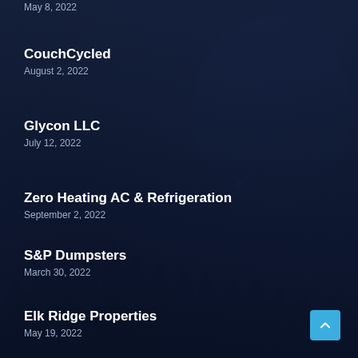May 8, 2022
CouchCycled
August 2, 2022
Glycon LLC
July 12, 2022
Zero Heating AC & Refrigeration
September 2, 2022
S&P Dumpsters
March 30, 2022
Elk Ridge Properties
May 19, 2022